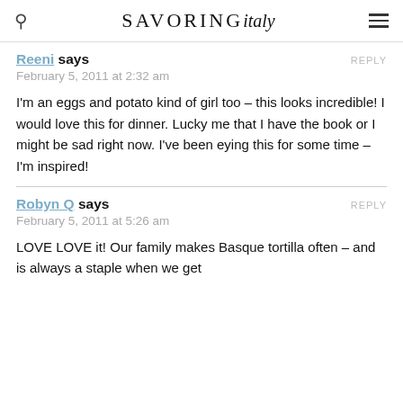SAVORING italy
Reeni says
February 5, 2011 at 2:32 am

I'm an eggs and potato kind of girl too – this looks incredible! I would love this for dinner. Lucky me that I have the book or I might be sad right now. I've been eying this for some time – I'm inspired!
Robyn Q says
February 5, 2011 at 5:26 am

LOVE LOVE it! Our family makes Basque tortilla often – and is always a staple when we get